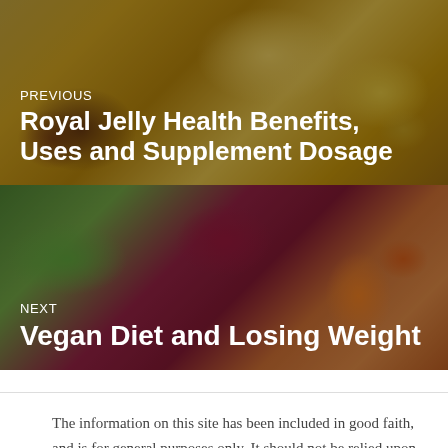[Figure (photo): Honey and bee products food photography — jars of honey, honeycomb, bee pollen on wooden surface]
[Figure (photo): Vegan bowl with purple cabbage, green leafy vegetables, carrots and falafel]
The information on this site has been included in good faith, and is for general purposes only. It should not be relied upon for any specific purpose, and no warranty or liability is given as regards to its accuracy or completeness. Fair use applies. © GHM